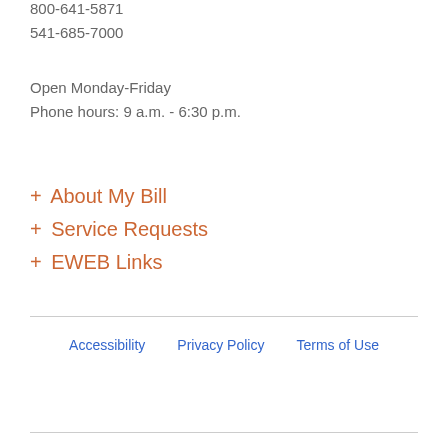800-641-5871
541-685-7000
Open Monday-Friday
Phone hours: 9 a.m. - 6:30 p.m.
+ About My Bill
+ Service Requests
+ EWEB Links
Accessibility   Privacy Policy   Terms of Use